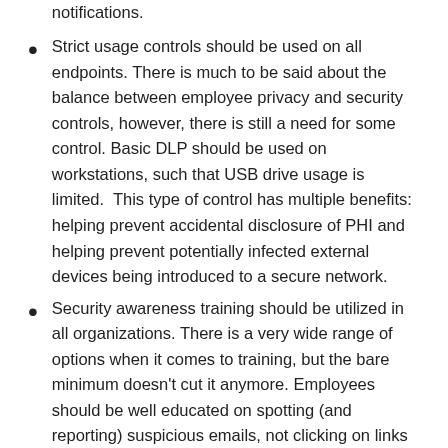notifications.
Strict usage controls should be used on all endpoints. There is much to be said about the balance between employee privacy and security controls, however, there is still a need for some control. Basic DLP should be used on workstations, such that USB drive usage is limited.  This type of control has multiple benefits:  helping prevent accidental disclosure of PHI and helping prevent potentially infected external devices being introduced to a secure network.
Security awareness training should be utilized in all organizations. There is a very wide range of options when it comes to training, but the bare minimum doesn’t cut it anymore. Employees should be well educated on spotting (and reporting) suspicious emails, not clicking on links or attachments in emails, and this training should